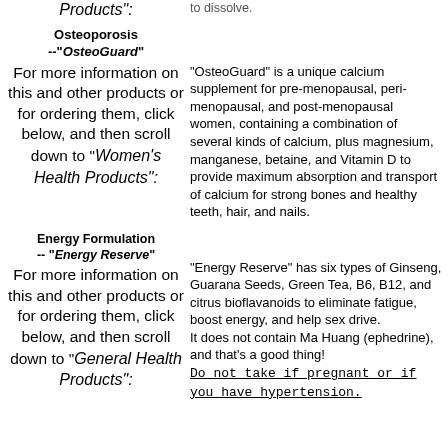Products":
Osteoporosis --"OsteoGuard"
For more information on this and other products or for ordering them, click below, and then scroll down to "Women's Health Products":
"OsteoGuard" is a unique calcium supplement for pre-menopausal, peri-menopausal, and post-menopausal women, containing a combination of several kinds of calcium, plus magnesium, manganese, betaine, and Vitamin D to provide maximum absorption and transport of calcium for strong bones and healthy teeth, hair, and nails.
Energy Formulation -- "Energy Reserve"
For more information on this and other products or for ordering them, click below, and then scroll down to "General Health Products":
"Energy Reserve" has six types of Ginseng, Guarana Seeds, Green Tea, B6, B12, and citrus bioflavanoids to eliminate fatigue, boost energy, and help sex drive. It does not contain Ma Huang (ephedrine), and that's a good thing! Do not take if pregnant or if you have hypertension.